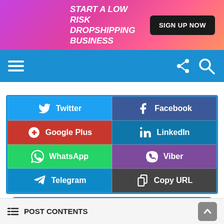[Figure (infographic): Advertisement banner: START A LOW RISK DROPSHIPPING BUSINESS with SIGN UP NOW button on gradient pink-purple background]
[Figure (screenshot): Blue navigation bar with hamburger menu icon on left and share/search icons on right]
[Figure (infographic): Social share button grid: Twitter, Facebook, Google Plus, LinkedIn, WhatsApp, Viber, Telegram, Copy URL]
LEAVE A REPLY
POST CONTENTS